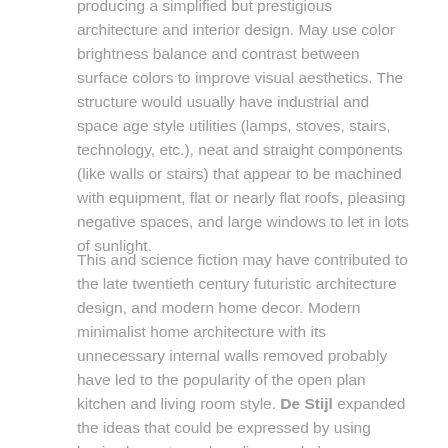producing a simplified but prestigious architecture and interior design. May use color brightness balance and contrast between surface colors to improve visual aesthetics. The structure would usually have industrial and space age style utilities (lamps, stoves, stairs, technology, etc.), neat and straight components (like walls or stairs) that appear to be machined with equipment, flat or nearly flat roofs, pleasing negative spaces, and large windows to let in lots of sunlight.
This and science fiction may have contributed to the late twentieth century futuristic architecture design, and modern home decor. Modern minimalist home architecture with its unnecessary internal walls removed probably have led to the popularity of the open plan kitchen and living room style. De Stijl expanded the ideas that could be expressed by using basic elements such as lines and planes organized in very particular manners.